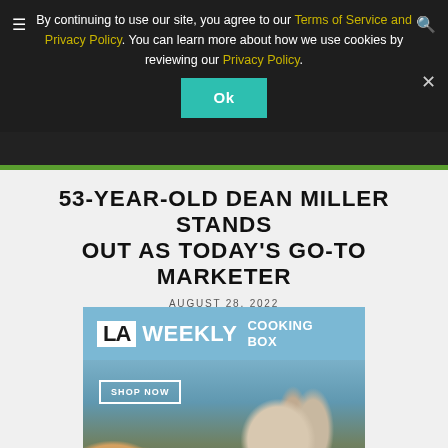By continuing to use our site, you agree to our Terms of Service and Privacy Policy. You can learn more about how we use cookies by reviewing our Privacy Policy.
53-YEAR-OLD DEAN MILLER STANDS OUT AS TODAY'S GO-TO MARKETER
AUGUST 28, 2022
[Figure (illustration): LA Weekly Cooking Box advertisement with blue banner showing LA Weekly logo and 'COOKING BOX' text, with a SHOP NOW button over a food photography image showing dishes, glassware, and condiments]